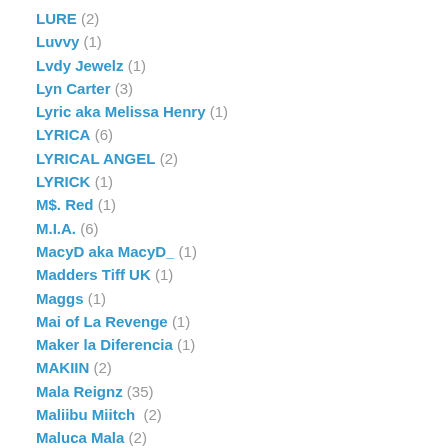LURE (2)
Luvvy (1)
Lvdy Jewelz (1)
Lyn Carter (3)
Lyric aka Melissa Henry (1)
LYRICA (6)
LYRICAL ANGEL (2)
LYRICK (1)
M$. Red (1)
M.I.A. (6)
MacyD aka MacyD_ (1)
Madders Tiff UK (1)
Maggs (1)
Mai of La Revenge (1)
Maker la Diferencia (1)
MAKIIN (2)
Mala Reignz (35)
Maliibu Miitch (2)
Maluca Mala (2)
Malva (1)